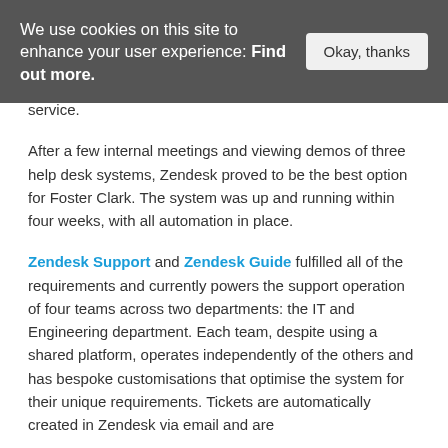We use cookies on this site to enhance your user experience: Find out more. [Button: Okay, thanks]
service.
After a few internal meetings and viewing demos of three help desk systems, Zendesk proved to be the best option for Foster Clark. The system was up and running within four weeks, with all automation in place.
Zendesk Support and Zendesk Guide fulfilled all of the requirements and currently powers the support operation of four teams across two departments: the IT and Engineering department. Each team, despite using a shared platform, operates independently of the others and has bespoke customisations that optimise the system for their unique requirements. Tickets are automatically created in Zendesk via email and are